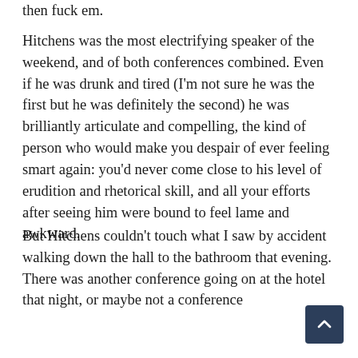then fuck em.
Hitchens was the most electrifying speaker of the weekend, and of both conferences combined. Even if he was drunk and tired (I'm not sure he was the first but he was definitely the second) he was brilliantly articulate and compelling, the kind of person who would make you despair of ever feeling smart again: you'd never come close to his level of erudition and rhetorical skill, and all your efforts after seeing him were bound to feel lame and awkward.
But Hitchens couldn't touch what I saw by accident walking down the hall to the bathroom that evening. There was another conference going on at the hotel that night, or maybe not a conference